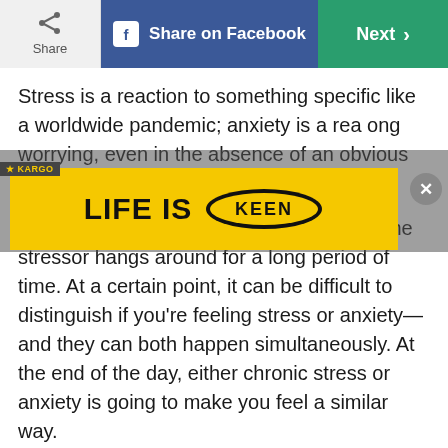Share | Share on Facebook | Next
Stress is a reaction to something specific like a worldwide pandemic; anxiety is a reaction to ongoing (worrying, even in the absence of an obvious stressor.
[Figure (screenshot): Yellow advertisement banner overlay reading 'LIFE IS' with KEEN logo, with Kargo badge and close button]
Stress can also be ongoing, or chronic, if the stressor hangs around for a long period of time. At a certain point, it can be difficult to distinguish if you're feeling stress or anxiety—and they can both happen simultaneously. At the end of the day, either chronic stress or anxiety is going to make you feel a similar way.